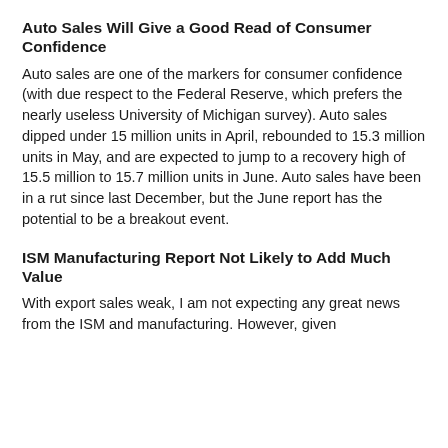Auto Sales Will Give a Good Read of Consumer Confidence
Auto sales are one of the markers for consumer confidence (with due respect to the Federal Reserve, which prefers the nearly useless University of Michigan survey). Auto sales dipped under 15 million units in April, rebounded to 15.3 million units in May, and are expected to jump to a recovery high of 15.5 million to 15.7 million units in June. Auto sales have been in a rut since last December, but the June report has the potential to be a breakout event.
ISM Manufacturing Report Not Likely to Add Much Value
With export sales weak, I am not expecting any great news from the ISM and manufacturing. However, given that the...